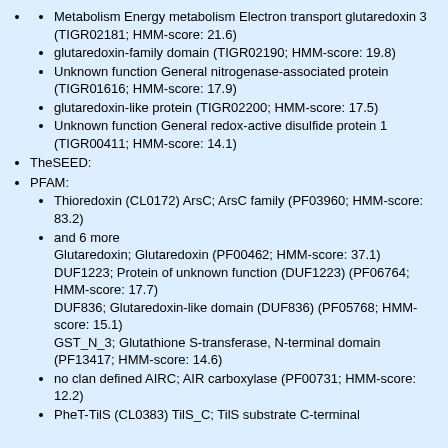Metabolism Energy metabolism Electron transport glutaredoxin 3 (TIGR02181; HMM-score: 21.6)
glutaredoxin-family domain (TIGR02190; HMM-score: 19.8)
Unknown function General nitrogenase-associated protein (TIGR01616; HMM-score: 17.9)
glutaredoxin-like protein (TIGR02200; HMM-score: 17.5)
Unknown function General redox-active disulfide protein 1 (TIGR00411; HMM-score: 14.1)
TheSEED:
PFAM:
Thioredoxin (CL0172) ArsC; ArsC family (PF03960; HMM-score: 83.2)
and 6 more Glutaredoxin; Glutaredoxin (PF00462; HMM-score: 37.1) DUF1223; Protein of unknown function (DUF1223) (PF06764; HMM-score: 17.7) DUF836; Glutaredoxin-like domain (DUF836) (PF05768; HMM-score: 15.1) GST_N_3; Glutathione S-transferase, N-terminal domain (PF13417; HMM-score: 14.6)
no clan defined AIRC; AIR carboxylase (PF00731; HMM-score: 12.2)
PheT-TilS (CL0383) TilS_C; TilS substrate C-terminal